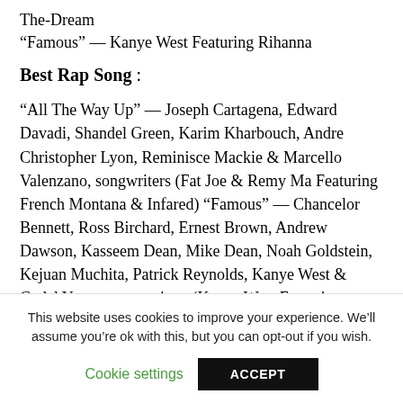The-Dream
“Famous” — Kanye West Featuring Rihanna
Best Rap Song :
“All The Way Up” — Joseph Cartagena, Edward Davadi, Shandel Green, Karim Kharbouch, Andre Christopher Lyon, Reminisce Mackie & Marcello Valenzano, songwriters (Fat Joe & Remy Ma Featuring French Montana & Infared)
“Famous” — Chancelor Bennett, Ross Birchard, Ernest Brown, Andrew Dawson, Kasseem Dean, Mike Dean, Noah Goldstein, Kejuan Muchita, Patrick Reynolds, Kanye West & Cydel Young, songwriters (Kanye West Featuring Rihanna)
“Hotline Bling” — Aubrey Graham & Paul
This website uses cookies to improve your experience. We’ll assume you’re ok with this, but you can opt-out if you wish.
Cookie settings   ACCEPT